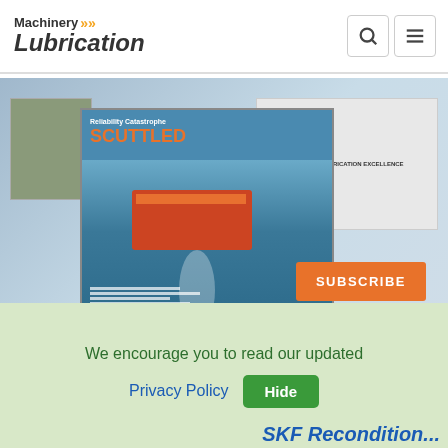Machinery Lubrication
[Figure (photo): Magazine covers showing 'Reliability Catastrophe SCUTTLED' with a cargo ship aerial view, and another magazine about lubrication excellence]
SUBSCRIBE
Additional Articles
We encourage you to read our updated Privacy Policy Hide
SKF Recondition...